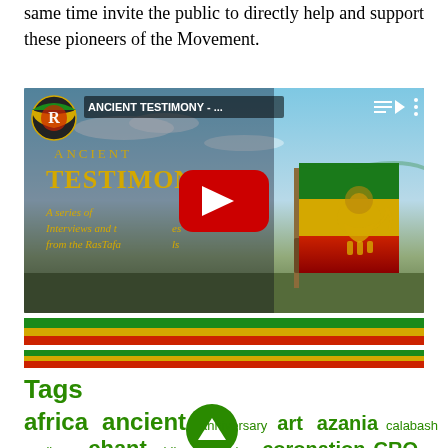same time invite the public to directly help and support these pioneers of the Movement.
[Figure (screenshot): YouTube video thumbnail for 'ANCIENT TESTIMONY' — a video about interviews and testimonies from the Rastafarian elders. The thumbnail shows an Ethiopian flag waving against a sky background, with golden text overlay. A red YouTube play button is centered over the image. A Rastafarian logo circle is visible in the top left corner.]
Tags
africa  ancient  anniversary  art  azania  calabash  carribean  chant  chile  chronicles  coronation  CRO